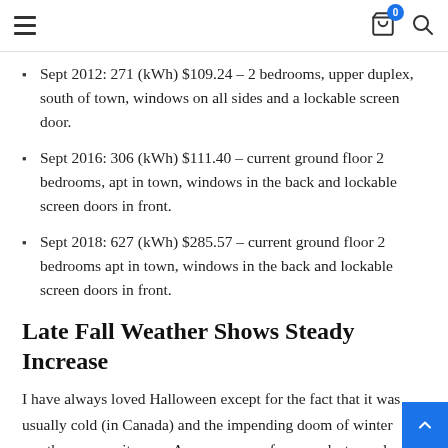Navigation header with hamburger menu, cart icon (badge: 0), and search icon
Sept 2012: 271 (kWh) $109.24 – 2 bedrooms, upper duplex, south of town, windows on all sides and a lockable screen door.
Sept 2016: 306 (kWh) $111.40 – current ground floor 2 bedrooms, apt in town, windows in the back and lockable screen doors in front.
Sept 2018: 627 (kWh) $285.57 – current ground floor 2 bedrooms apt in town, windows in the back and lockable screen doors in front.
Late Fall Weather Shows Steady Increase
I have always loved Halloween except for the fact that it was usually cold (in Canada) and the impending doom of winter weather was on its way. As you can see from my last couple of years bills, no fear of the cold in the month of October. There is